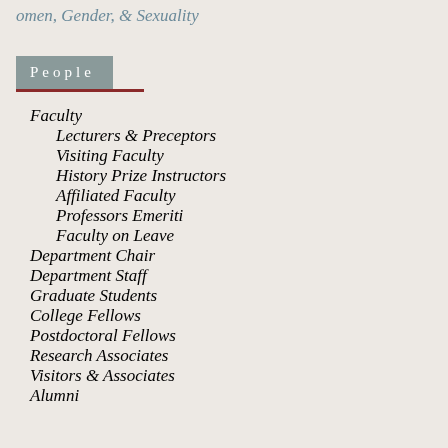omen, Gender, & Sexuality
People
Faculty
Lecturers & Preceptors
Visiting Faculty
History Prize Instructors
Affiliated Faculty
Professors Emeriti
Faculty on Leave
Department Chair
Department Staff
Graduate Students
College Fellows
Postdoctoral Fellows
Research Associates
Visitors & Associates
Alumni